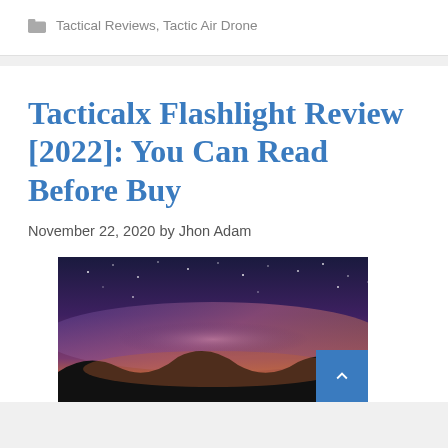Tactical Reviews, Tactic Air Drone
Tacticalx Flashlight Review [2022]: You Can Read Before Buy
November 22, 2020 by Jhon Adam
[Figure (photo): Night sky photo showing the Milky Way galaxy with purple and orange hues over a dark silhouetted landscape]